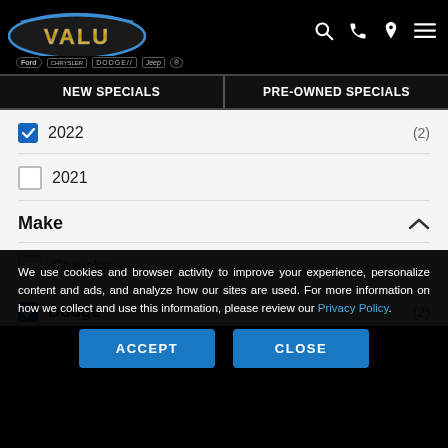[Figure (logo): VALU Ford Chrysler Dodge Jeep dealership logo with oval chrome design on black background]
NEW SPECIALS
PRE-OWNED SPECIALS
2022 (2) - checked
2021 - unchecked
Make
Chrysler - unchecked
Dodge (2) - checked
We use cookies and browser activity to improve your experience, personalize content and ads, and analyze how our sites are used. For more information on how we collect and use this information, please review our Privacy Policy.
ACCEPT
CLOSE